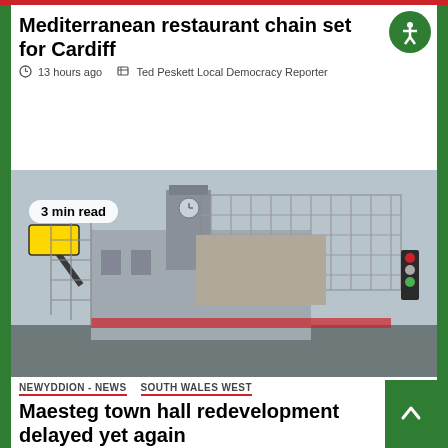Mediterranean restaurant chain set for Cardiff
13 hours ago  Ted Peskett Local Democracy Reporter
[Figure (photo): Construction site showing Maesteg town hall building being redeveloped, with scaffolding and metal framework erected around the historic building with a clock tower. A '3 min read' badge overlays the top-left area of the photo.]
NEWYDDION - NEWS   SOUTH WALES WEST
Maesteg town hall redevelopment delayed yet again
13 hours ago  Lewis Smith